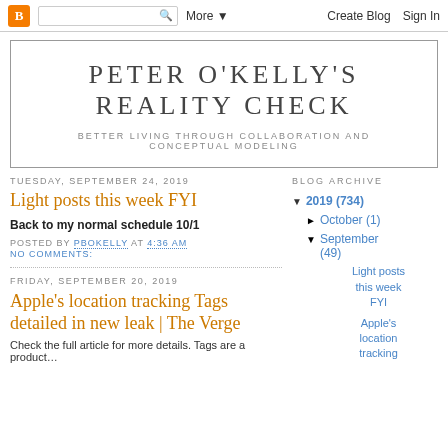Blogger navbar with logo, search, More, Create Blog, Sign In
PETER O'KELLY'S REALITY CHECK
BETTER LIVING THROUGH COLLABORATION AND CONCEPTUAL MODELING
TUESDAY, SEPTEMBER 24, 2019
Light posts this week FYI
Back to my normal schedule 10/1
POSTED BY PBOKELLY AT 4:36 AM NO COMMENTS:
FRIDAY, SEPTEMBER 20, 2019
Apple's location tracking Tags detailed in new leak | The Verge
Check the full article for more details. Tags are a product…
BLOG ARCHIVE ▼ 2019 (734) ► October (1) ▼ September (49) Light posts this week FYI Apple's location tracking